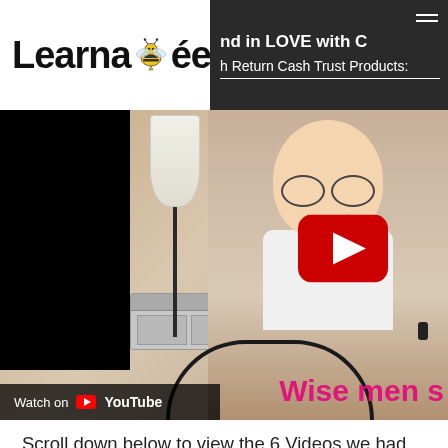LearnaBee
nd in LOVE with C... h Return Cash Trust Products:
[Figure (screenshot): YouTube video thumbnail showing a person in a living room with a play button overlay and 'Watch on YouTube' bar. Text overlay reads 'Wise men s' in pink.]
Scroll down below to view the 6 Videos we had prepared for you. They will be available for FREE to Dublisontiles are of